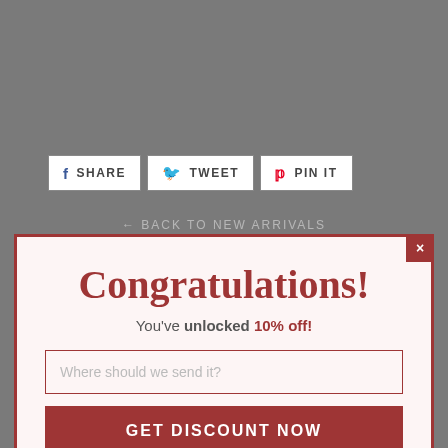[Figure (screenshot): Share/Tweet/Pin It social sharing buttons row on a grey background webpage]
← BACK TO NEW ARRIVALS
Search   Catalog   Shipping
About US   Contact Us   Return Policy
Terms of Service   Intellectual Property Rights
Custom Neon Signs
Congratulations!
You've unlocked 10% off!
Where should we send it?
GET DISCOUNT NOW